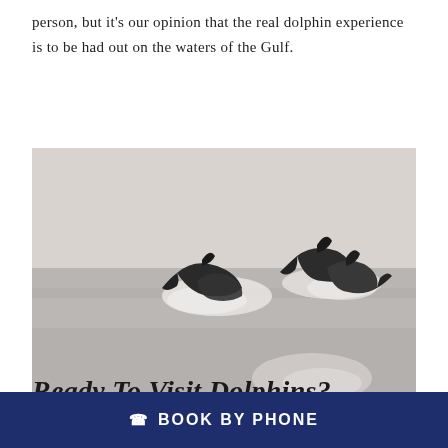person, but it's our opinion that the real dolphin experience is to be had out on the waters of the Gulf.
[Figure (photo): Aerial or bird's-eye view photo of three dolphins swimming through calm, misty Gulf waters, leaving white wake patterns behind them.]
Ready To Visit Dolphins?
BOOK BY PHONE